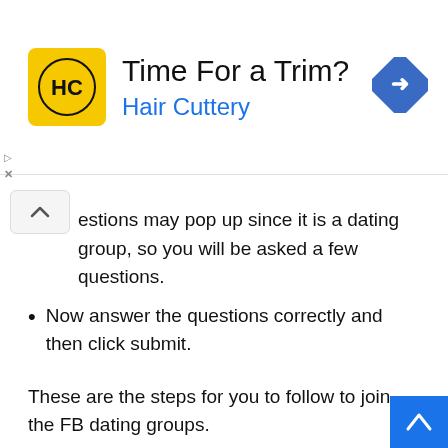[Figure (other): Hair Cuttery advertisement banner with logo (HC in yellow square), text 'Time For a Trim? Hair Cuttery', and a blue navigation arrow icon on the right.]
estions may pop up since it is a dating group, so you will be asked a few questions.
Now answer the questions correctly and then click submit.
These are the steps for you to follow to join the FB dating groups.
Is Facebook Dating App Available? | Facebook Dating USA | Facebook Dating Profile.
Disclosure: This post can contain affiliate links, which means that if you click a link and buy anything we suggested, we may earn a fee. Read more about Affiliate disclosure here.